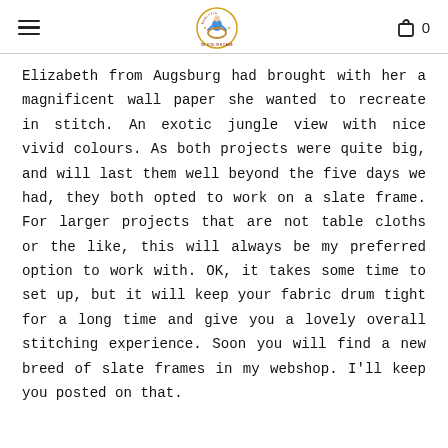[hamburger menu] [logo] [cart 0]
Elizabeth from Augsburg had brought with her a magnificent wall paper she wanted to recreate in stitch. An exotic jungle view with nice vivid colours. As both projects were quite big, and will last them well beyond the five days we had, they both opted to work on a slate frame. For larger projects that are not table cloths or the like, this will always be my preferred option to work with. OK, it takes some time to set up, but it will keep your fabric drum tight for a long time and give you a lovely overall stitching experience. Soon you will find a new breed of slate frames in my webshop. I'll keep you posted on that.